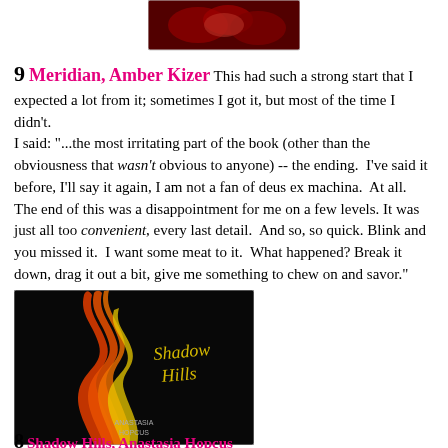[Figure (photo): Book cover thumbnail showing a dark red rose design, partially visible at top of page]
9 Meridian, Amber Kizer This had such a strong start that I expected a lot from it; sometimes I got it, but most of the time I didn't.
I said: "...the most irritating part of the book (other than the obviousness that wasn't obvious to anyone) -- the ending. I've said it before, I'll say it again, I am not a fan of deus ex machina. At all. The end of this was a disappointment for me on a few levels. It was just all too convenient, every last detail. And so, so quick. Blink and you missed it. I want some meat to it. What happened? Break it down, drag it out a bit, give me something to chew on and savor."
[Figure (photo): Book cover of 'Shadow Hills' by Anastasia Hopcus, showing swirling flame-like shapes in red, orange and yellow on a black background with the title in yellow script font]
8 Shadow Hills, Anastasia Hopcus